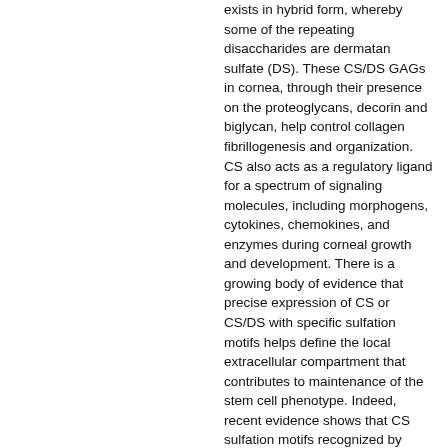exists in hybrid form, whereby some of the repeating disaccharides are dermatan sulfate (DS). These CS/DS GAGs in cornea, through their presence on the proteoglycans, decorin and biglycan, help control collagen fibrillogenesis and organization. CS also acts as a regulatory ligand for a spectrum of signaling molecules, including morphogens, cytokines, chemokines, and enzymes during corneal growth and development. There is a growing body of evidence that precise expression of CS or CS/DS with specific sulfation motifs helps define the local extracellular compartment that contributes to maintenance of the stem cell phenotype. Indeed, recent evidence shows that CS sulfation motifs recognized by antibodies 4C3, 7D4, and 3B3 identify stem cell